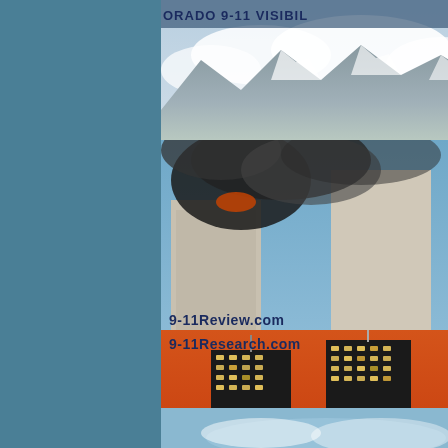[Figure (photo): Partial view showing text 'ORADO 9-11 VISIBIL' over a photo of snow-capped Rocky Mountains with clouds]
[Figure (photo): Photo of World Trade Center towers with smoke and fire, with text overlay '9-11Review.com']
[Figure (photo): Orange-tinted night photo of Twin Towers with text overlay '9-11Research.com']
[Figure (photo): Partial bottom image showing blue sky scene, partially cut off]